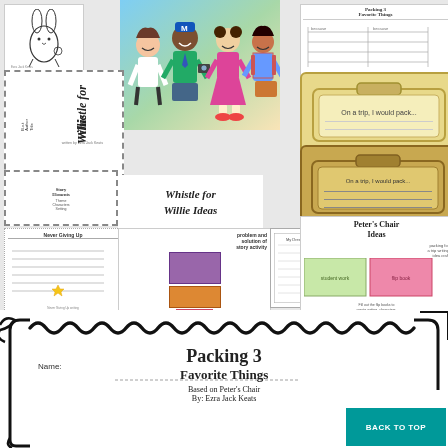[Figure (illustration): Collage of educational worksheets and activity cards related to children's books 'Whistle for Willie' and 'Peter's Chair' by Ezra Jack Keats, including worksheet previews, book covers, activity cards, and student work samples]
Packing 3 Favorite Things
Name:
Based on Peter's Chair
By: Ezra Jack Keats
BACK TO TOP